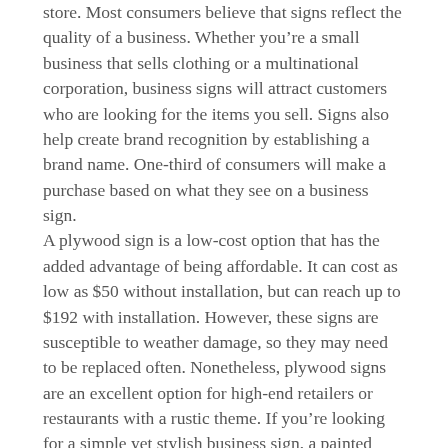store. Most consumers believe that signs reflect the quality of a business. Whether you're a small business that sells clothing or a multinational corporation, business signs will attract customers who are looking for the items you sell. Signs also help create brand recognition by establishing a brand name. One-third of consumers will make a purchase based on what they see on a business sign.
A plywood sign is a low-cost option that has the added advantage of being affordable. It can cost as low as $50 without installation, but can reach up to $192 with installation. However, these signs are susceptible to weather damage, so they may need to be replaced often. Nonetheless, plywood signs are an excellent option for high-end retailers or restaurants with a rustic theme. If you're looking for a simple yet stylish business sign, a painted plywood sign may be your best option.
LED sign boards and marquee signs are two popular types of business signs. They are large, bright, and flashy and display a message in LED lights. They can be adjusted in real time and are a popular choice for entertainment venues. The ADA's rules on signage are quite strict, so you'll need to check the regulations for your area before you order your signs. If you're not sure what to choose, contact a professional sign company.